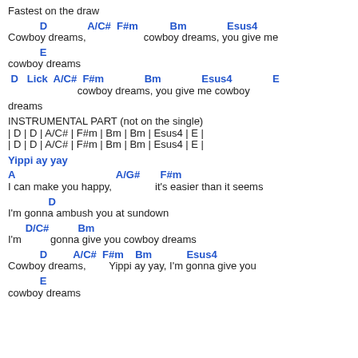Fastest on the draw
D         A/C#  F#m           Bm              Esus4
Cowboy dreams,              cowboy dreams, you give me
E
cowboy dreams
D   Lick  A/C#  F#m              Bm              Esus4              E
                        cowboy dreams, you give me cowboy
dreams
INSTRUMENTAL PART (not on the single)
| D | D | A/C# | F#m | Bm | Bm | Esus4 | E |
| D | D | A/C# | F#m | Bm | Bm | Esus4 | E |
Yippi ay yay
A                               A/G#       F#m
I can make you happy,          it's easier than it seems
D
I'm gonna ambush you at sundown
D/C#          Bm
I'm          gonna give you cowboy dreams
D         A/C#  F#m    Bm            Esus4
Cowboy dreams,        Yippi ay yay, I'm gonna give you
E
cowboy dreams